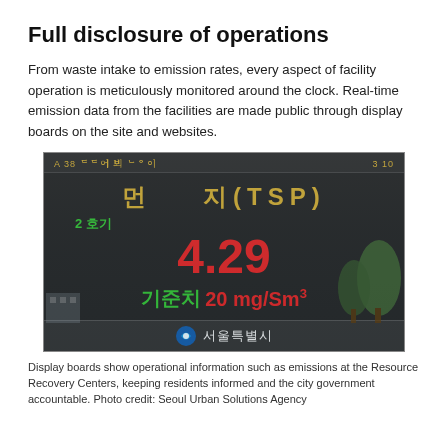Full disclosure of operations
From waste intake to emission rates, every aspect of facility operation is meticulously monitored around the clock. Real-time emission data from the facilities are made public through display boards on the site and websites.
[Figure (photo): Electronic display board showing air emission data (TSP - Total Suspended Particles) reading 4.29, with standard value of 20 mg/Sm³, text in Korean and English, operated by Seoul city government]
Display boards show operational information such as emissions at the Resource Recovery Centers, keeping residents informed and the city government accountable. Photo credit: Seoul Urban Solutions Agency